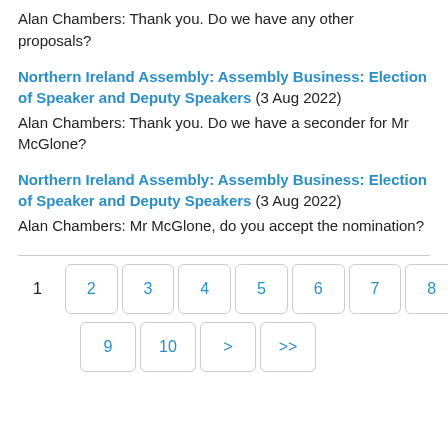Alan Chambers: Thank you. Do we have any other proposals?
Northern Ireland Assembly: Assembly Business: Election of Speaker and Deputy Speakers (3 Aug 2022)
Alan Chambers: Thank you. Do we have a seconder for Mr McGlone?
Northern Ireland Assembly: Assembly Business: Election of Speaker and Deputy Speakers (3 Aug 2022)
Alan Chambers: Mr McGlone, do you accept the nomination?
1 2 3 4 5 6 7 8 9 10 > >>